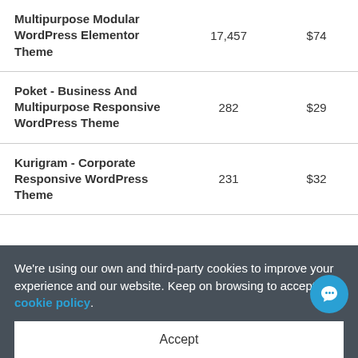| Product | Sales | Price |
| --- | --- | --- |
| Multipurpose Modular WordPress Elementor Theme | 17,457 | $74 |
| Poket - Business And Multipurpose Responsive WordPress Theme | 282 | $29 |
| Kurigram - Corporate Responsive WordPress Theme | 231 | $32 |
We're using our own and third-party cookies to improve your experience and our website. Keep on browsing to accept our cookie policy.